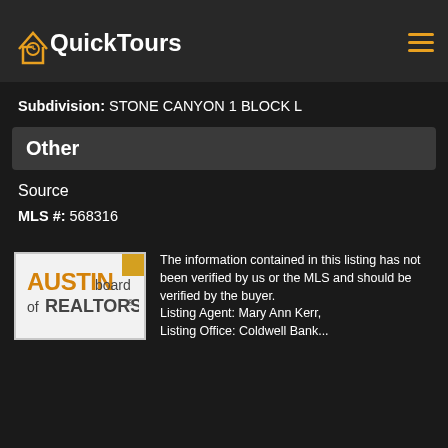QuickTours
Subdivision: STONE CANYON 1 BLOCK L
Other
Source
MLS #: 568316
[Figure (logo): Austin Board of REALTORS logo]
The information contained in this listing has not been verified by us or the MLS and should be verified by the buyer. Listing Agent: Mary Ann Kerr, Listing Office: Coldwell Bank...